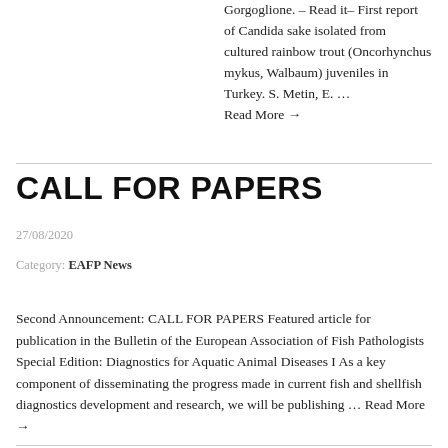Gorgoglione. – Read it– First report of Candida sake isolated from cultured rainbow trout (Oncorhynchus mykiss, Walbaum) juveniles in Turkey. S. Metin, E. … Read More →
CALL FOR PAPERS
27/08/2020
Category: EAFP News
Second Announcement: CALL FOR PAPERS Featured article for publication in the Bulletin of the European Association of Fish Pathologists Special Edition: Diagnostics for Aquatic Animal Diseases I As a key component of disseminating the progress made in current fish and shellfish diagnostics development and research, we will be publishing … Read More →